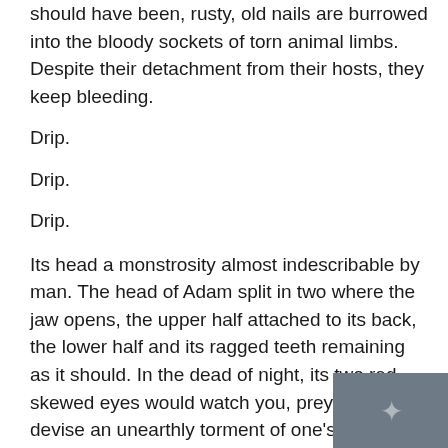should have been, rusty, old nails are burrowed into the bloody sockets of torn animal limbs. Despite their detachment from their hosts, they keep bleeding.
Drip.
Drip.
Drip.
Its head a monstrosity almost indescribable by man. The head of Adam split in two where the jaw opens, the upper half attached to its back, the lower half and its ragged teeth remaining as it should. In the dead of night, its two red, skewed eyes would watch you, prey upon you, devise an unearthly torment of one's mortal soul. When it hunts, it uses all four limbs to pursue its prey. When it hunts, it sings a song forgotten by the tides of time. When it hunts, it's too late to run.
[Figure (other): Dark grey overlay box in bottom-right corner with a faint icon, partially obscuring text]